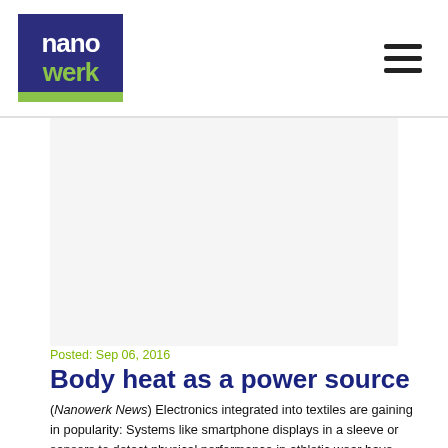[Figure (logo): Nanowerk logo — dark blue square with 'nano' in white and 'werk' in green, green bar at bottom]
Posted: Sep 06, 2016
Body heat as a power source
(Nanowerk News) Electronics integrated into textiles are gaining in popularity: Systems like smartphone displays in a sleeve or sensors to detect physical performance in athletic wear have already been produced. The main problem with these systems tends to be the lack of a comfortable, equally wearable